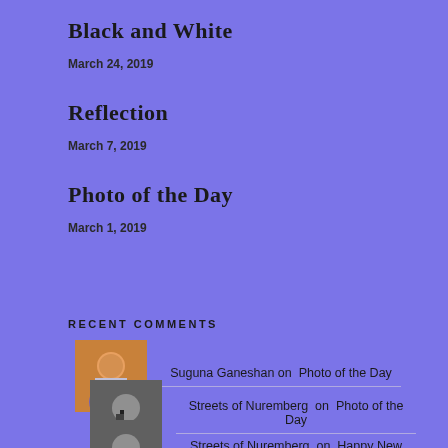Black and White
March 24, 2019
Reflection
March 7, 2019
Photo of the Day
March 1, 2019
RECENT COMMENTS
Suguna Ganeshan on Photo of the Day
Streets of Nuremberg on Photo of the Day
Streets of Nuremberg on Happy New Year 2019